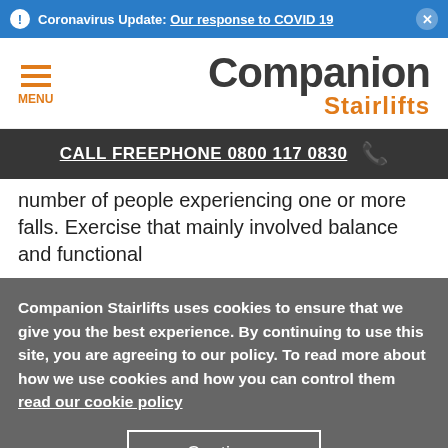Coronavirus Update: Our response to COVID 19
[Figure (logo): Companion Stairlifts logo with hamburger menu icon and MENU label]
CALL FREEPHONE 0800 117 0830
number of people experiencing one or more falls. Exercise that mainly involved balance and functional
Companion Stairlifts uses cookies to ensure that we give you the best experience. By continuing to use this site, you are agreeing to our policy. To read more about how we use cookies and how you can control them read our cookie policy
Continue